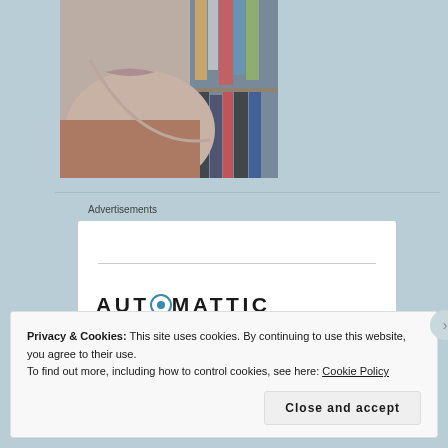[Figure (photo): Close-up photo of a person's face (lower half) in profile view with a bookshelf visible in the background. Photo has a slightly faded, vintage color tone.]
Advertisements
[Figure (logo): Automattic company logo displayed in uppercase bold letters with a circled 'O' icon replacing the letter 'O' in AUTOMATTIC, shown in dark/black text on white background.]
Privacy & Cookies: This site uses cookies. By continuing to use this website, you agree to their use.
To find out more, including how to control cookies, see here: Cookie Policy
Close and accept